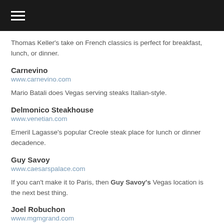≡
Thomas Keller's take on French classics is perfect for breakfast, lunch, or dinner.
Carnevino
www.carnevino.com
Mario Batali does Vegas serving steaks Italian-style.
Delmonico Steakhouse
www.venetian.com
Emeril Lagasse's popular Creole steak place for lunch or dinner decadence.
Guy Savoy
www.caesarspalace.com
If you can't make it to Paris, then Guy Savoy's Vegas location is the next best thing.
Joel Robuchon
www.mgmgrand.com
Its very, very expensive, but if you're a foodie or win big on the slots,